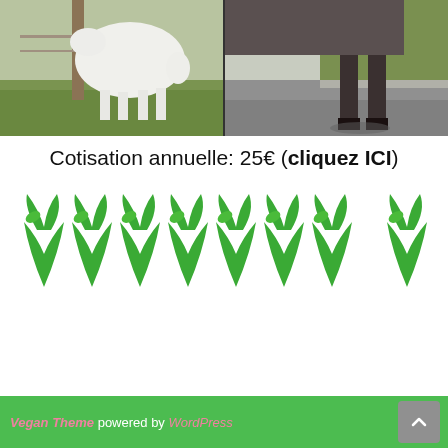[Figure (photo): Two photos side by side: left shows a white goat/sheep near a fence post on green grass; right shows the legs of a dark horse standing on pavement near a curb.]
Cotisation annuelle: 25€ (cliquez ICI)
[Figure (illustration): Row of 8 green vegan leaf/sprout logos in a horizontal line]
Vegan Theme powered by WordPress